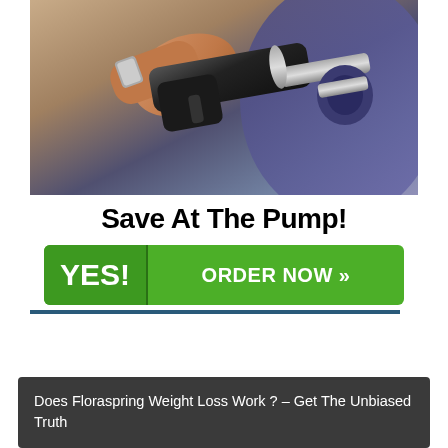[Figure (photo): Close-up photo of a hand holding a gas pump nozzle inserted into a car fuel tank, with blurred background]
Save At The Pump!
YES! ORDER NOW »
Does Floraspring Weight Loss Work ? – Get The Unbiased Truth